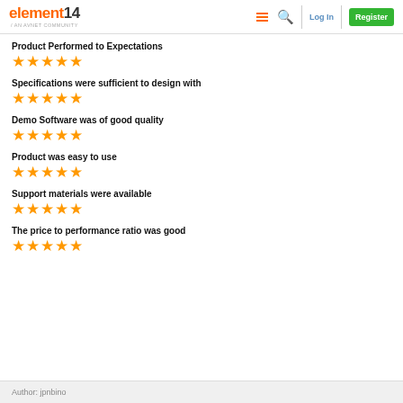element14 / AN AVNET COMMUNITY — Log In | Register
Product Performed to Expectations ★★★★★
Specifications were sufficient to design with ★★★★★
Demo Software was of good quality ★★★★★
Product was easy to use ★★★★★
Support materials were available ★★★★★
The price to performance ratio was good ★★★★★
Author: jpnbino